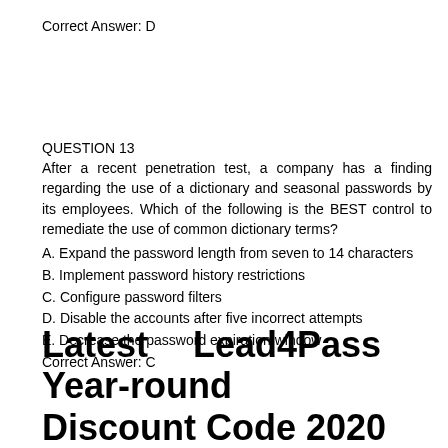Correct Answer: D
QUESTION 13
After a recent penetration test, a company has a finding regarding the use of a dictionary and seasonal passwords by its employees. Which of the following is the BEST control to remediate the use of common dictionary terms?
A. Expand the password length from seven to 14 characters
B. Implement password history restrictions
C. Configure password filters
D. Disable the accounts after five incorrect attempts
E. Decrease the password expiration window
Correct Answer: C
Latest Lead4Pass Year-round Discount Code 2020